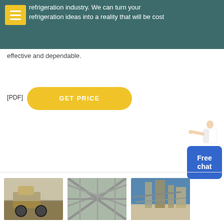refrigeration industry. We can turn your refrigeration ideas into a reality that will be cost effective and dependable.
[PDF] GET PRICE
[Figure (photo): Three industrial site photos: mining machinery, metal framework structure, and industrial plant with conveyor belts against blue sky]
Differences Between Industrial Process Chillers & HVAC ...
Industrial process chillers designed and manufactured by Thermal Care provide